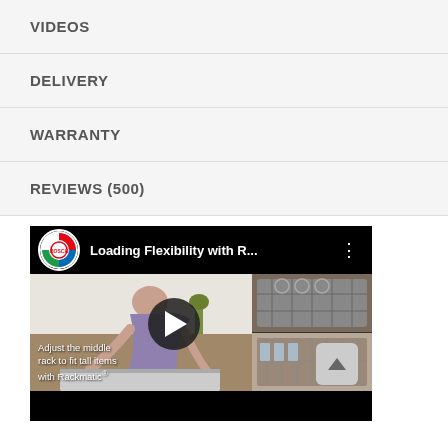VIDEOS
DELIVERY
WARRANTY
REVIEWS (500)
[Figure (screenshot): YouTube video thumbnail for 'Loading Flexibility with R...' by Bosch, showing a person loading a dishwasher with middle rack and text 'Adjust the middle rack to fit tall items with Rackmatic®'. Play button visible in center.]